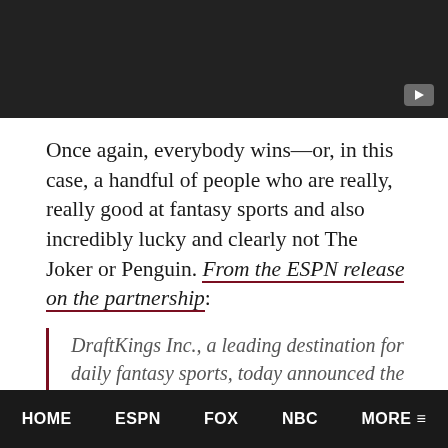[Figure (screenshot): Dark video player area with a YouTube play button in the bottom-right corner]
Once again, everybody wins—or, in this case, a handful of people who are really, really good at fantasy sports and also incredibly lucky and clearly not The Joker or Penguin. From the ESPN release on the partnership:
DraftKings Inc., a leading destination for daily fantasy sports, today announced the start of the $10 Million Guaranteed Millionaire Maker Fantasy Football Contest that will take place
HOME   ESPN   FOX   NBC   MORE